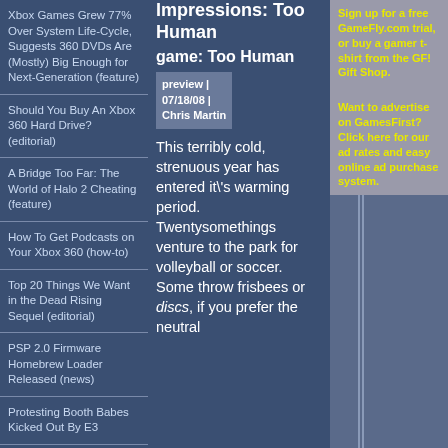Xbox Games Grew 77% Over System Life-Cycle, Suggests 360 DVDs Are (Mostly) Big Enough for Next-Generation (feature)
Should You Buy An Xbox 360 Hard Drive? (editorial)
A Bridge Too Far: The World of Halo 2 Cheating (feature)
How To Get Podcasts on Your Xbox 360 (how-to)
Top 20 Things We Want in the Dead Rising Sequel (editorial)
PSP 2.0 Firmware Homebrew Loader Released (news)
Protesting Booth Babes Kicked Out By E3
Impressions: Too Human
game: Too Human
preview | 07/18/08 | Chris Martin
This terribly cold, strenuous year has entered it\'s warming period. Twentysomethings venture to the park for volleyball or soccer. Some throw frisbees or discs, if you prefer the neutral
Sign up for a free GameFly.com trial, or buy a gamer t-shirt from the GF! Gift Shop.
Want to advertise on GamesFirst? Click here for our ad rates and easy online ad purchase system.